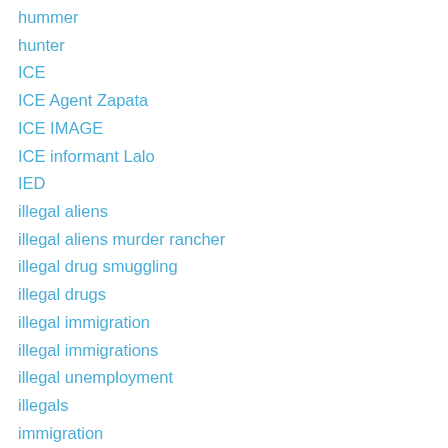hummer
hunter
ICE
ICE Agent Zapata
ICE IMAGE
ICE informant Lalo
IED
illegal aliens
illegal aliens murder rancher
illegal drug smuggling
illegal drugs
illegal immigration
illegal immigrations
illegal unemployment
illegals
immigration
immigration laws
immigration reform
immigration speech
in-state tuition california